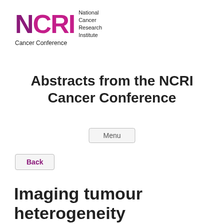[Figure (logo): NCRI National Cancer Research Institute Cancer Conference logo with purple/magenta lettering]
Abstracts from the NCRI Cancer Conference
Menu
Back
Imaging tumour heterogeneity